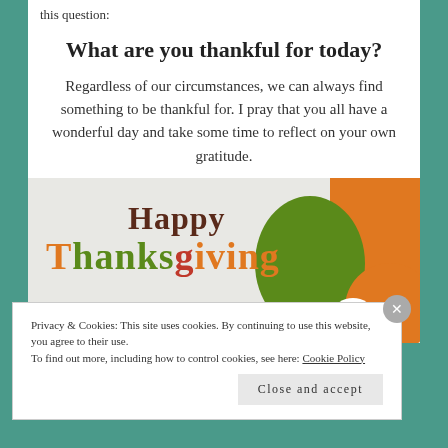this question:
What are you thankful for today?
Regardless of our circumstances, we can always find something to be thankful for. I pray that you all have a wonderful day and take some time to reflect on your own gratitude.
[Figure (illustration): Happy Thanksgiving greeting card with colorful text and decorative shapes including green oval, orange shapes, and a cartoon bird eye]
Privacy & Cookies: This site uses cookies. By continuing to use this website, you agree to their use. To find out more, including how to control cookies, see here: Cookie Policy
Close and accept